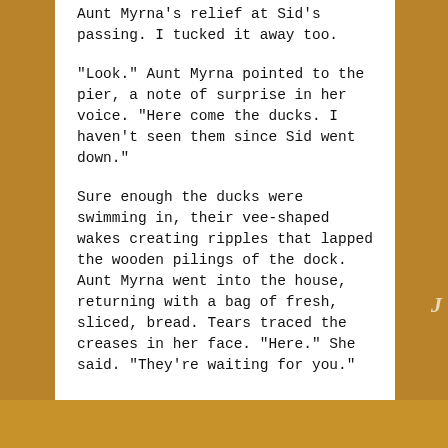Aunt Myrna's relief at Sid's passing. I tucked it away too.
"Look." Aunt Myrna pointed to the pier, a note of surprise in her voice. "Here come the ducks. I haven't seen them since Sid went down."
Sure enough the ducks were swimming in, their vee-shaped wakes creating ripples that lapped the wooden pilings of the dock. Aunt Myrna went into the house, returning with a bag of fresh, sliced, bread. Tears traced the creases in her face. "Here." She said. "They're waiting for you."